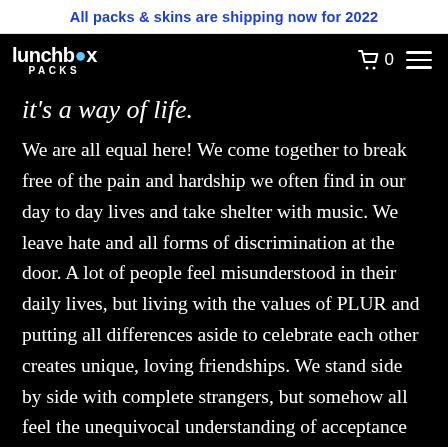All packs & skins are shipping now for 2022
[Figure (logo): Lunchbox Packs logo — white text on black background with a blue dot above the 'o' in lunchbox, and PACKS subtitle in spaced caps]
it's a way of life.
We are all equal here! We come together to break free of the pain and hardship we often find in our day to day lives and take shelter with music. We leave hate and all forms of discrimination at the door. A lot of people feel misunderstood in their daily lives, but living with the values of PLUR and putting all differences aside to celebrate each other creates unique, loving friendships. We stand side by side with complete strangers, but somehow all feel the unequivocal understanding of acceptance that